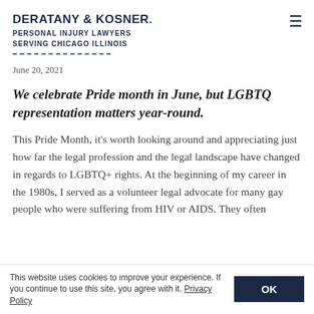DERATANY & KOSNER. PERSONAL INJURY LAWYERS SERVING CHICAGO ILLINOIS
June 20, 2021
We celebrate Pride month in June, but LGBTQ representation matters year-round.
This Pride Month, it's worth looking around and appreciating just how far the legal profession and the legal landscape have changed in regards to LGBTQ+ rights. At the beginning of my career in the 1980s, I served as a volunteer legal advocate for many gay people who were suffering from HIV or AIDS. They often
This website uses cookies to improve your experience. If you continue to use this site, you agree with it. Privacy Policy  OK